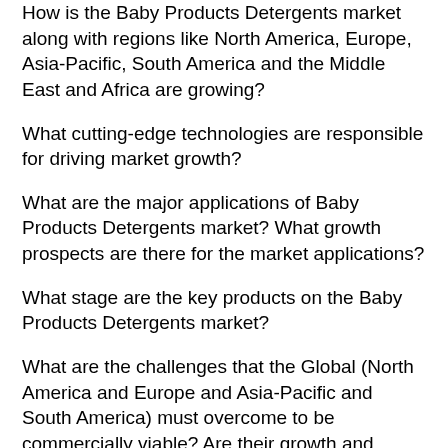How is the Baby Products Detergents market along with regions like North America, Europe, Asia-Pacific, South America and the Middle East and Africa are growing?
What cutting-edge technologies are responsible for driving market growth?
What are the major applications of Baby Products Detergents market? What growth prospects are there for the market applications?
What stage are the key products on the Baby Products Detergents market?
What are the challenges that the Global (North America and Europe and Asia-Pacific and South America) must overcome to be commercially viable? Are their growth and commercialization dependent on cost declines or